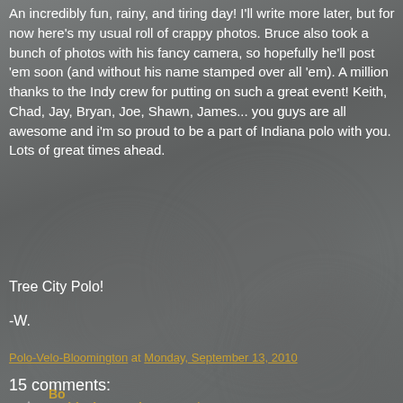An incredibly fun, rainy, and tiring day! I'll write more later, but for now here's my usual roll of crappy photos. Bruce also took a bunch of photos with his fancy camera, so hopefully he'll post 'em soon (and without his name stamped over all 'em). A million thanks to the Indy crew for putting on such a great event! Keith, Chad, Jay, Bryan, Joe, Shawn, James... you guys are all awesome and i'm so proud to be a part of Indiana polo with you. Lots of great times ahead.
Tree City Polo!
-W.
Polo-Velo-Bloomington at Monday, September 13, 2010
15 comments:
Sideshow Bob September 13, 2010 at 6:55 PM
boom baby